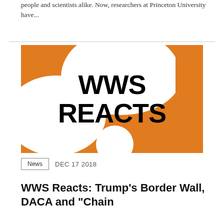people and scientists alike. Now, researchers at Princeton University have...
[Figure (illustration): WWS Reacts graphic: orange background with white speech bubbles and bold black text reading 'WWS REACTS']
News   DEC 17 2018
WWS Reacts: Trump's Border Wall, DACA and "Chain